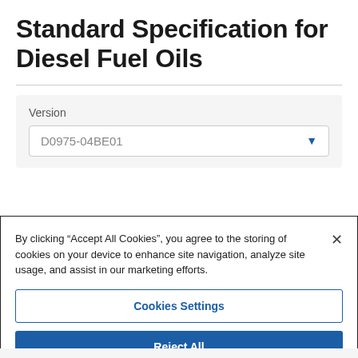Standard Specification for Diesel Fuel Oils
Version
D0975-04BE01
By clicking “Accept All Cookies”, you agree to the storing of cookies on your device to enhance site navigation, analyze site usage, and assist in our marketing efforts.
Cookies Settings
Reject All